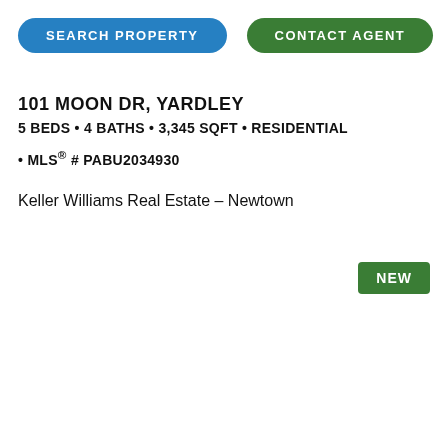SEARCH PROPERTY   CONTACT AGENT
101 MOON DR, YARDLEY
5 BEDS • 4 BATHS • 3,345 SQFT • RESIDENTIAL • MLS® # PABU2034930
Keller Williams Real Estate – Newtown
NEW